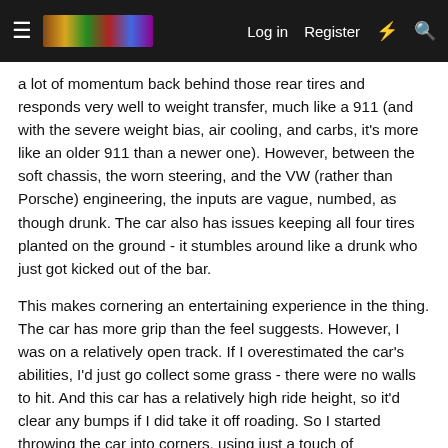Log in  Register
a lot of momentum back behind those rear tires and responds very well to weight transfer, much like a 911 (and with the severe weight bias, air cooling, and carbs, it's more like an older 911 than a newer one). However, between the soft chassis, the worn steering, and the VW (rather than Porsche) engineering, the inputs are vague, numbed, as though drunk. The car also has issues keeping all four tires planted on the ground - it stumbles around like a drunk who just got kicked out of the bar.
This makes cornering an entertaining experience in the thing. The car has more grip than the feel suggests. However, I was on a relatively open track. If I overestimated the car's abilities, I'd just go collect some grass - there were no walls to hit. And this car has a relatively high ride height, so it'd clear any bumps if I did take it off roading. So I started throwing the car into corners, using just a touch of trailbraking to ensure I had enough front grip to turn in, and then rolling on the throttle to plant the back. A couple of times in the hairpin, I used a bit too much throttle and ended up throwing the car into a drift. I'd come out